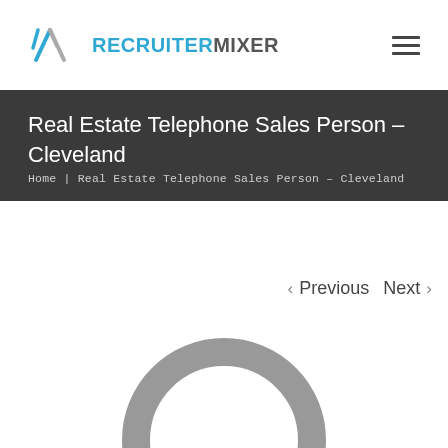RECRUITERMIXER
Real Estate Telephone Sales Person – Cleveland
Home | Real Estate Telephone Sales Person – Cleveland
< Previous   Next >
[Figure (illustration): Partial gray circular loading spinner / ring graphic visible at the bottom of the page]